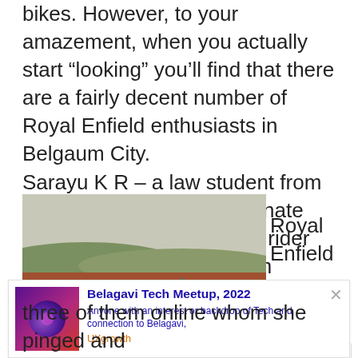bikes. However, to your amazement, when you actually start “looking” you’ll find that there are a fairly decent number of Royal Enfield enthusiasts in Belgaum City.
Sarayu K R – a law student from R L Law College, a passionate Royal Enfield Thunderbird rider started looking out for such
[Figure (photo): A row of Royal Enfield motorcycles parked side by side on a red dirt road with a green landscape and hazy sky in the background.]
Royal Enfield
[Figure (infographic): Advertisement card for Belagavi Tech Meetup, 2022. Shows a purple/magenta event poster thumbnail, title 'Belagavi Tech Meetup, 2022', description 'Anyone with an interest or backdrop of Tech and connection to Belagavi,', source label 'UXgrowth', and a close button X.]
three of them online whom she pinged and